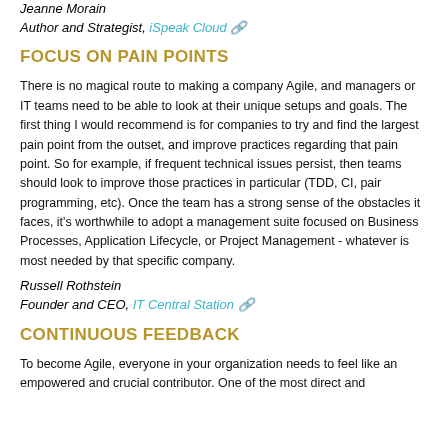Jeanne Morain
Author and Strategist, iSpeak Cloud
FOCUS ON PAIN POINTS
There is no magical route to making a company Agile, and managers or IT teams need to be able to look at their unique setups and goals. The first thing I would recommend is for companies to try and find the largest pain point from the outset, and improve practices regarding that pain point. So for example, if frequent technical issues persist, then teams should look to improve those practices in particular (TDD, CI, pair programming, etc). Once the team has a strong sense of the obstacles it faces, it's worthwhile to adopt a management suite focused on Business Processes, Application Lifecycle, or Project Management - whatever is most needed by that specific company.
Russell Rothstein
Founder and CEO, IT Central Station
CONTINUOUS FEEDBACK
To become Agile, everyone in your organization needs to feel like an empowered and crucial contributor. One of the most direct and